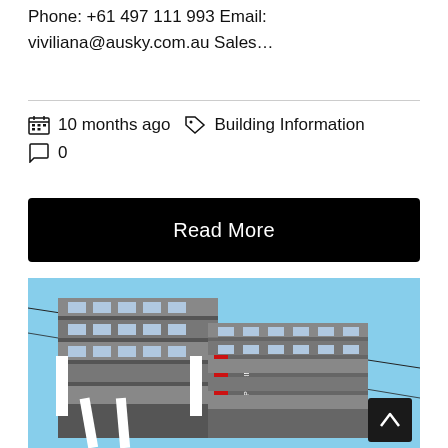Phone: +61 497 111 993 Email: viviliana@ausky.com.au Sales…
10 months ago  Building Information  0
Read More
[Figure (photo): Exterior photo of a modern multi-storey apartment building called PRECINCT with a blue sky background. The building features white and dark grey cladding with balconies. A red vertical sign reading PRECINCT is visible on the facade.]